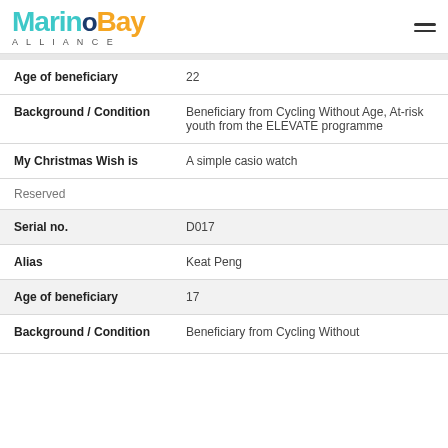[Figure (logo): Marino Bay Alliance logo with teal and gold text and hamburger menu icon]
| Age of beneficiary | 22 |
| Background / Condition | Beneficiary from Cycling Without Age, At-risk youth from the ELEVATE programme |
| My Christmas Wish is | A simple casio watch |
| Reserved |  |
| Serial no. | D017 |
| Alias | Keat Peng |
| Age of beneficiary | 17 |
| Background / Condition | Beneficiary from Cycling Without |